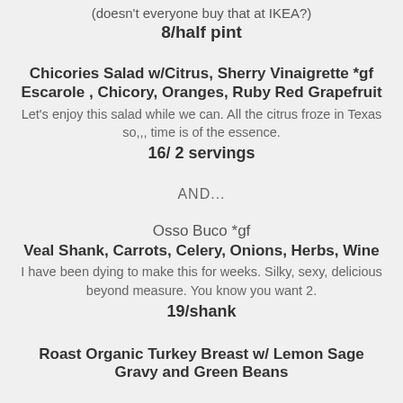(doesn't everyone buy that at IKEA?)
8/half pint
Chicories Salad w/Citrus, Sherry Vinaigrette *gf
Escarole , Chicory, Oranges, Ruby Red Grapefruit
Let's enjoy this salad while we can. All the citrus froze in Texas so,,, time is of the essence.
16/ 2 servings
AND...
Osso Buco *gf
Veal Shank, Carrots, Celery, Onions, Herbs, Wine
I have been dying to make this for weeks. Silky, sexy, delicious beyond measure. You know you want 2.
19/shank
Roast Organic Turkey Breast w/ Lemon Sage Gravy and Green Beans